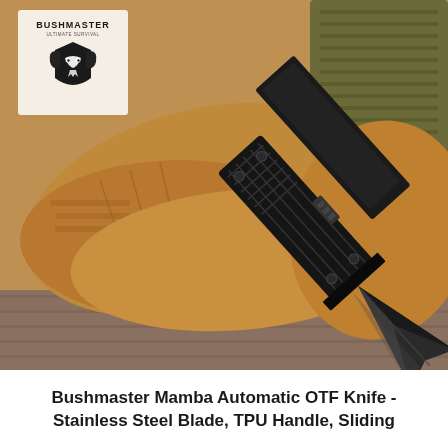[Figure (photo): Product photo of Bushmaster Mamba Automatic OTF Knife with a black double-edged dagger blade extended from a black textured handle, laid on tan/brown tactical work gloves with a military bag in the background. Bushmaster logo (snake head emblem) and brand name visible in upper-left corner.]
Bushmaster Mamba Automatic OTF Knife - Stainless Steel Blade, TPU Handle, Sliding